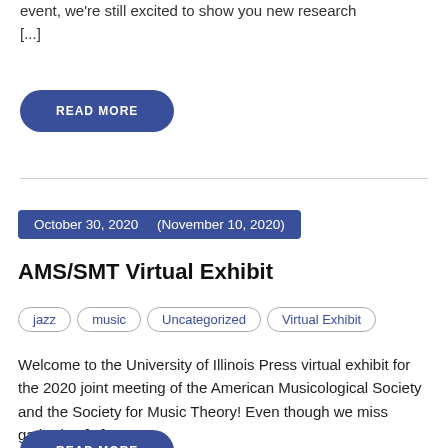event, we're still excited to show you new research [...]
READ MORE
October 30, 2020    (November 10, 2020)
AMS/SMT Virtual Exhibit
jazz
music
Uncategorized
Virtual Exhibit
Welcome to the University of Illinois Press virtual exhibit for the 2020 joint meeting of the American Musicological Society and the Society for Music Theory! Even though we miss gathering [...]
READ MORE